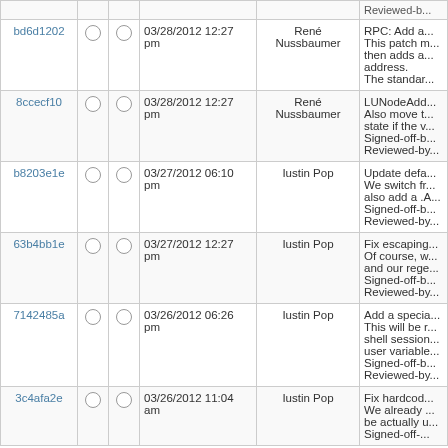| hash |  |  | date | author | description |
| --- | --- | --- | --- | --- | --- |
| (partial top row) |  |  |  |  | Reviewed-b... |
| bd6d1202 | ○ | ○ | 03/28/2012 12:27 pm | René Nussbaumer | RPC: Add a...
This patch m...
then adds a...
address.
The standar... |
| 8ccecf10 | ○ | ○ | 03/28/2012 12:27 pm | René Nussbaumer | LUNodeAdd...
Also move t...
state if the v...
Signed-off-b...
Reviewed-by... |
| b8203e1e | ○ | ○ | 03/27/2012 06:10 pm | Iustin Pop | Update defa...
We switch fr...
also add a .A...
Signed-off-b...
Reviewed-by... |
| 63b4bb1e | ○ | ○ | 03/27/2012 12:27 pm | Iustin Pop | Fix escaping...
Of course, w...
and our rege...
Signed-off-b...
Reviewed-by... |
| 7142485a | ○ | ○ | 03/26/2012 06:26 pm | Iustin Pop | Add a specia...
This will be r...
shell session...
user variable...
Signed-off-b...
Reviewed-by... |
| 3c4afa2e | ○ | ○ | 03/26/2012 11:04 am | Iustin Pop | Fix hardcod...
We already ...
be actually u...
Signed-off-... |